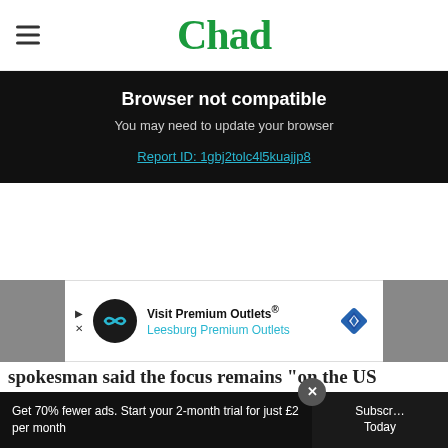Chad
Browser not compatible
You may need to update your browser
Report ID: 1gbj2tolc4l5kuajjp8
[Figure (infographic): Advertisement for Visit Premium Outlets® - Leesburg Premium Outlets with logo and navigation arrows]
spokesman said the focus remains "on the US
Get 70% fewer ads. Start your 2-month trial for just £2 per month
Subscribe Today